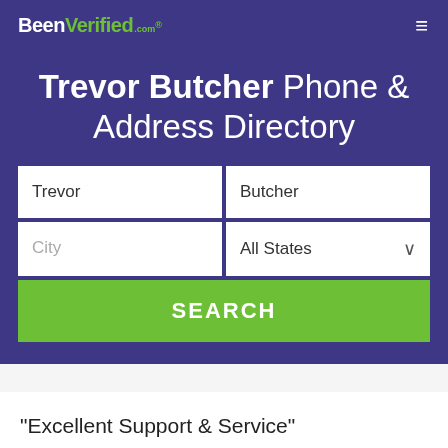BeenVerified.com
Trevor Butcher Phone & Address Directory
Trevor | Butcher | City | All States | SEARCH
“Excellent Support & Service”